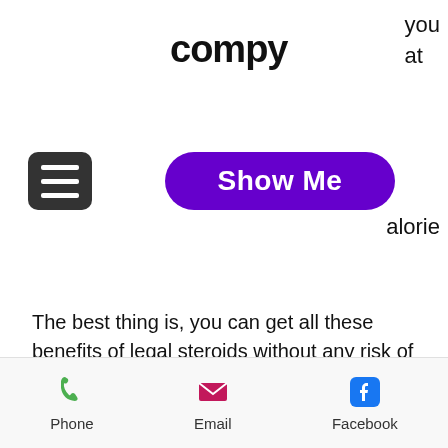compy
you at
[Figure (other): Hamburger menu icon button (dark rounded square with three white horizontal lines)]
[Figure (other): Purple rounded button with white bold text 'Show Me']
alorie
The best thing is, you can get all these benefits of legal steroids without any risk of potentially dangerous side effects associated with normal steroids. They are often mixed in products like Albuterol.
"Albuterol is one of many products you can get legally," says Dr. Lenny Redman, M.D. "I've found that this is the fastest way to
Phone  Email  Facebook